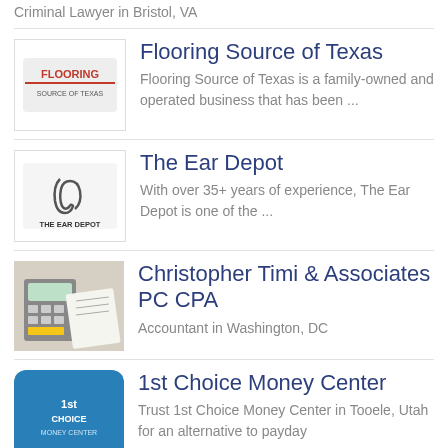Criminal Lawyer in Bristol, VA
Flooring Source of Texas — Flooring Source of Texas is a family-owned and operated business that has been ...
The Ear Depot — With over 35+ years of experience, The Ear Depot is one of the ...
Christopher Timi & Associates PC CPA — Accountant in Washington, DC
1st Choice Money Center — Trust 1st Choice Money Center in Tooele, Utah for an alternative to payday...